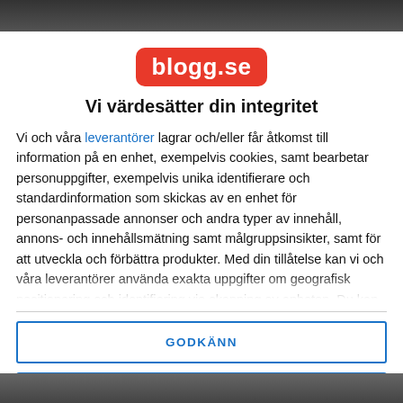[Figure (screenshot): Dark background image strip at the top of the page]
[Figure (logo): blogg.se logo — white text on red rounded rectangle badge]
Vi värdesätter din integritet
Vi och våra leverantörer lagrar och/eller får åtkomst till information på en enhet, exempelvis cookies, samt bearbetar personuppgifter, exempelvis unika identifierare och standardinformation som skickas av en enhet för personanpassade annonser och andra typer av innehåll, annons- och innehållsmätning samt målgruppsinsikter, samt för att utveckla och förbättra produkter. Med din tillåtelse kan vi och våra leverantörer använda exakta uppgifter om geografisk positionering och identifiering via skanning av enheten. Du kan klicka för att godkänna
GODKÄNN
FLER ALTERNATIV
[Figure (screenshot): Dark background image strip at the bottom of the page]